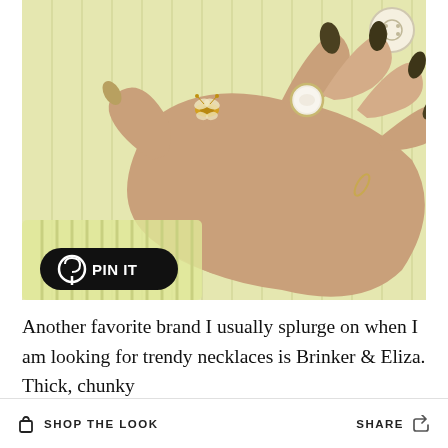[Figure (photo): Close-up photo of a woman's hand wearing a pearl ring and a gold bee brooch on a light yellow knit cardigan sweater. Nails are olive/dark gold colored. A 'PIN IT' button overlay appears at the bottom left of the image.]
Another favorite brand I usually splurge on when I am looking for trendy necklaces is Brinker & Eliza. Thick, chunky
SHOP the LOOK    SHARE